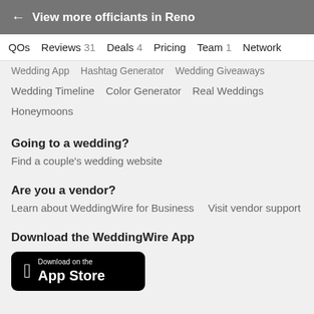← View more officiants in Reno
QAs  Reviews 31  Deals 4  Pricing  Team 1  Network
Wedding App   Hashtag Generator   Wedding Giveaways
Wedding Timeline   Color Generator   Real Weddings
Honeymoons
Going to a wedding?
Find a couple's wedding website
Are you a vendor?
Learn about WeddingWire for Business   Visit vendor support
Download the WeddingWire App
[Figure (other): Download on the App Store button (Apple logo with text 'Download on the App Store')]